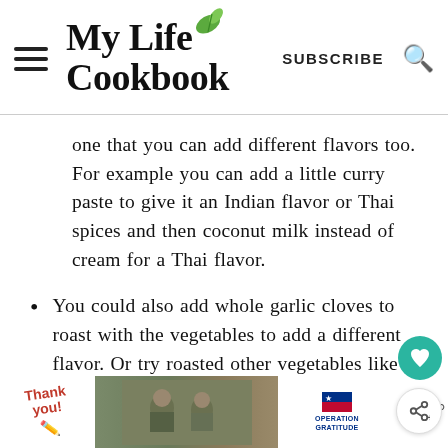My Life Cookbook
one that you can add different flavors too. For example you can add a little curry paste to give it an Indian flavor or Thai spices and then coconut milk instead of cream for a Thai flavor.
You could also add whole garlic cloves to roast with the vegetables to add a different flavor. Or try roasted other vegetables like potatoes, celery root or sweet potatoes along with the others.
[Figure (screenshot): Advertisement banner at bottom: Thank you with pencil illustration, military soldiers photo, Operation Gratitude logo with stars and stripes design, and partial website content visible on right.]